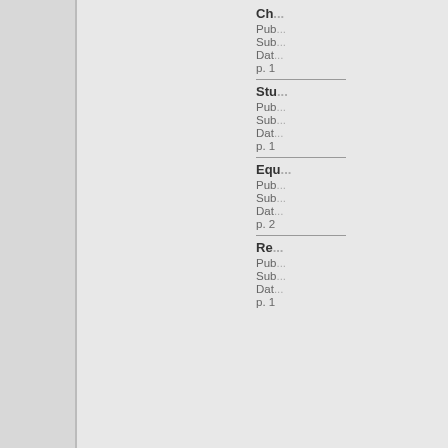Ch...
Pub...
Sub...
Dat...
p. 1
Stu...
Pub...
Sub...
Dat...
p. 1
Equ...
Pub...
Sub...
Dat...
p. 2
Re...
Pub...
Sub...
Dat...
p. 1